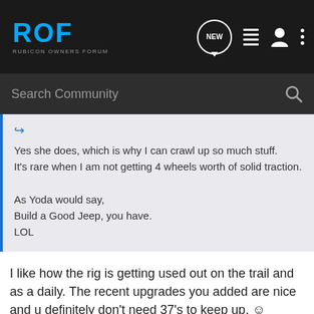ROF RUBICON OWNERS FORUM
Search Community
Yes she does, which is why I can crawl up so much stuff.
It's rare when I am not getting 4 wheels worth of solid traction.

As Yoda would say,
Build a Good Jeep, you have.
LOL
I like how the rig is getting used out on the trail and as a daily. The recent upgrades you added are nice and u definitely don't need 37's to keep up. ☺
*2003 Black Rubicon
8274-50, GenRight Suspension stretched to 100", Rock Jock 60